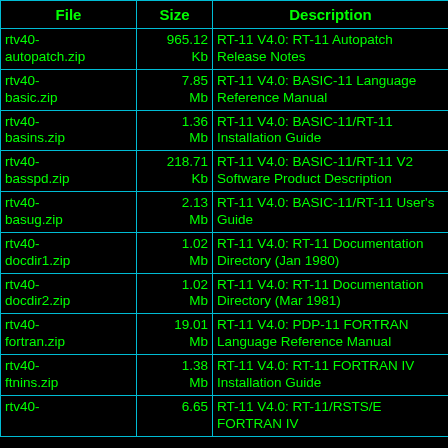| File | Size | Description |
| --- | --- | --- |
| rtv40-autopatch.zip | 965.12 Kb | RT-11 V4.0: RT-11 Autopatch Release Notes |
| rtv40-basic.zip | 7.85 Mb | RT-11 V4.0: BASIC-11 Language Reference Manual |
| rtv40-basins.zip | 1.36 Mb | RT-11 V4.0: BASIC-11/RT-11 Installation Guide |
| rtv40-basspd.zip | 218.71 Kb | RT-11 V4.0: BASIC-11/RT-11 V2 Software Product Description |
| rtv40-basug.zip | 2.13 Mb | RT-11 V4.0: BASIC-11/RT-11 User's Guide |
| rtv40-docdir1.zip | 1.02 Mb | RT-11 V4.0: RT-11 Documentation Directory (Jan 1980) |
| rtv40-docdir2.zip | 1.02 Mb | RT-11 V4.0: RT-11 Documentation Directory (Mar 1981) |
| rtv40-fortran.zip | 19.01 Mb | RT-11 V4.0: PDP-11 FORTRAN Language Reference Manual |
| rtv40-ftnins.zip | 1.38 Mb | RT-11 V4.0: RT-11 FORTRAN IV Installation Guide |
| rtv40- | 6.65 | RT-11 V4.0: RT-11/RSTS/E FORTRAN IV |